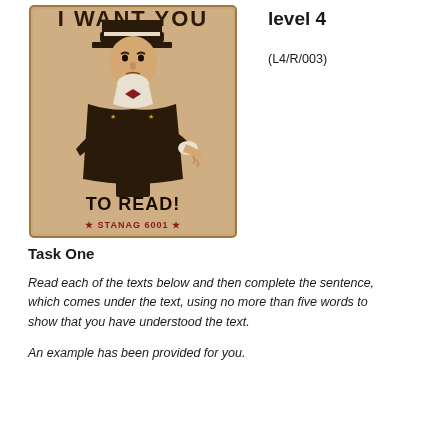[Figure (illustration): Uncle Sam 'I Want You' poster style image with text 'TO READ!' and '★ STANAG 6001 ★' at the bottom, on aged parchment background]
level 4
(L4/R/003)
Task One
Read each of the texts below and then complete the sentence, which comes under the text, using no more than five words to show that you have understood the text.
An example has been provided for you.